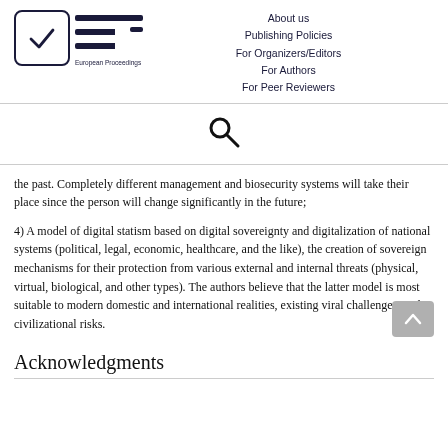[Figure (logo): European Proceedings logo with checkmark in rounded square box and EP text with horizontal lines]
About us
Publishing Policies
For Organizers/Editors
For Authors
For Peer Reviewers
[Figure (other): Search icon (magnifying glass)]
the past. Completely different management and biosecurity systems will take their place since the person will change significantly in the future;
4) A model of digital statism based on digital sovereignty and digitalization of national systems (political, legal, economic, healthcare, and the like), the creation of sovereign mechanisms for their protection from various external and internal threats (physical, virtual, biological, and other types). The authors believe that the latter model is most suitable to modern domestic and international realities, existing viral challenges, and civilizational risks.
Acknowledgments